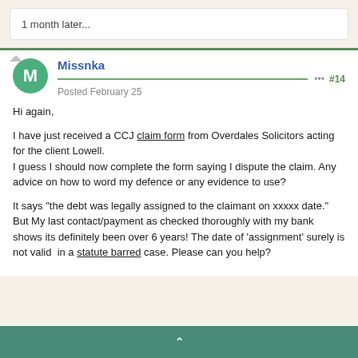1 month later...
Missnka — Posted February 25 — #14
Hi again,

I have just received a CCJ claim form from Overdales Solicitors acting for the client Lowell.
I guess I should now complete the form saying I dispute the claim. Any advice on how to word my defence or any evidence to use?

It says "the debt was legally assigned to the claimant on xxxxx date."  But My last contact/payment as checked thoroughly with my bank shows its definitely been over 6 years! The date of 'assignment' surely is not valid  in a statute barred case. Please can you help?
^